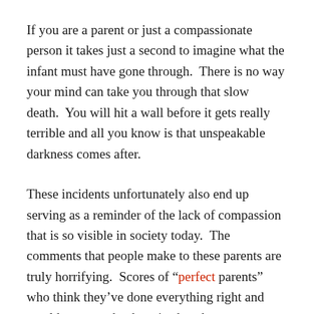If you are a parent or just a compassionate person it takes just a second to imagine what the infant must have gone through.  There is no way your mind can take you through that slow death.  You will hit a wall before it gets really terrible and all you know is that unspeakable darkness comes after.
These incidents unfortunately also end up serving as a reminder of the lack of compassion that is so visible in society today.  The comments that people make to these parents are truly horrifying.  Scores of “perfect parents” who think they’ve done everything right and would never make the mistakes these parents did.  These perfect parents are calling for the gallows instead of realizing that the person you are criticizing is in a